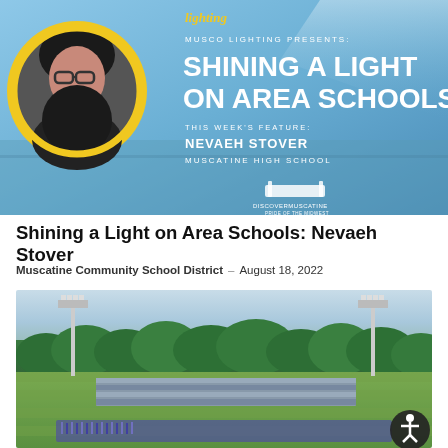[Figure (photo): Musco Lighting promotional banner featuring a circular portrait photo of Nevaeh Stover with yellow ring, on a blue background with text: MUSCO LIGHTING PRESENTS: SHINING A LIGHT ON AREA SCHOOLS. THIS WEEK'S FEATURE: NEVAEH STOVER, MUSCATINE HIGH SCHOOL, with Discover Muscatine logo.]
Shining a Light on Area Schools: Nevaeh Stover
Muscatine Community School District – August 18, 2022
[Figure (photo): Wide shot of Muscatine High School football field with bleachers, stadium lights, trees in background, and a large group of students gathered on the field in purple.]